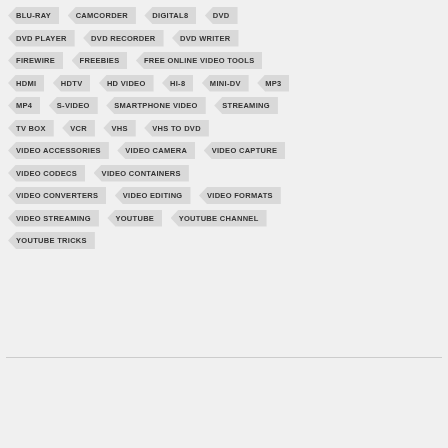BLU-RAY
CAMCORDER
DIGITAL8
DVD
DVD PLAYER
DVD RECORDER
DVD WRITER
FIREWIRE
FREEBIES
FREE ONLINE VIDEO TOOLS
HDMI
HDTV
HD VIDEO
HI-8
MINI-DV
MP3
MP4
S-VIDEO
SMARTPHONE VIDEO
STREAMING
TV BOX
VCR
VHS
VHS TO DVD
VIDEO ACCESSORIES
VIDEO CAMERA
VIDEO CAPTURE
VIDEO CODECS
VIDEO CONTAINERS
VIDEO CONVERTERS
VIDEO EDITING
VIDEO FORMATS
VIDEO STREAMING
YOUTUBE
YOUTUBE CHANNEL
YOUTUBE TRICKS